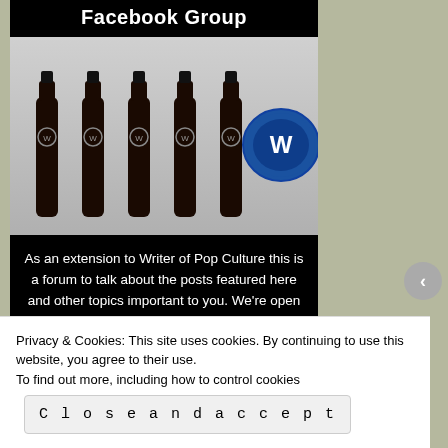Facebook Group
[Figure (photo): Six dark glass bottles with a 'W Writer of Pop Culture' label arranged in a row; the last item is a large blue bottle cap with a W logo on it, on a light background.]
As an extension to Writer of Pop Culture this is a forum to talk about the posts featured here and other topics important to you. We're open to (almost) anything pop culture related as long as it is clean (think PG-rated). Let's chat!
[Figure (other): Row of five social sharing icon buttons (blue, blue, pink/magenta, red, grey circles) and a grey arrow circle navigation element]
Privacy & Cookies: This site uses cookies. By continuing to use this website, you agree to their use.
To find out more, including how to control cookies